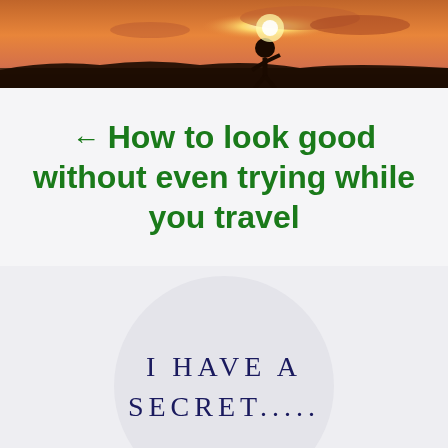[Figure (photo): A silhouette photo of a person against a sunset sky with orange and pink hues]
← How to look good without even trying while you travel
[Figure (illustration): A light grey circle badge containing the text 'I HAVE A SECRET.....' in dark navy spaced lettering]